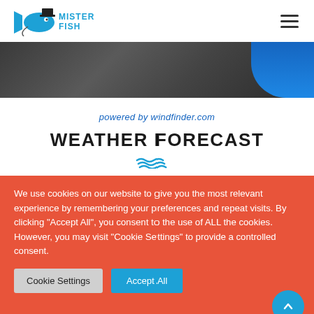MISTER FISH
[Figure (photo): Hero banner image showing a dark background with a person in a blue jacket on the right side]
powered by windfinder.com
WEATHER FORECAST
We use cookies on our website to give you the most relevant experience by remembering your preferences and repeat visits. By clicking "Accept All", you consent to the use of ALL the cookies. However, you may visit "Cookie Settings" to provide a controlled consent.
Cookie Settings | Accept All